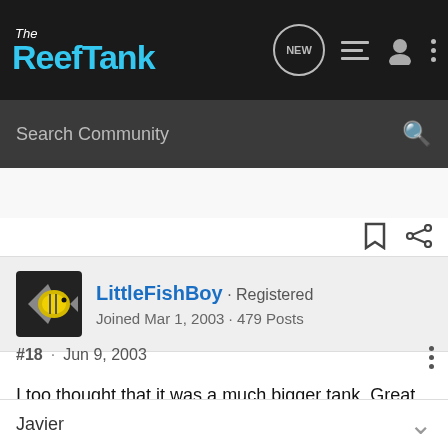The Reef Tank
Search Community
LittleFishBoy · Registered
Joined Mar 1, 2003 · 479 Posts
#18 · Jun 9, 2003
I too thought that it was a much bigger tank. Great job on putting everything together like that. Looks great.:beer:
Javier